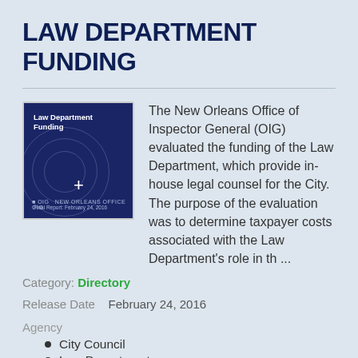LAW DEPARTMENT FUNDING
[Figure (illustration): Cover image of the Law Department Funding report — dark navy blue background with circular design, white cross/plus symbol, title text 'Law Department Funding', date text, and OIG logo at bottom.]
The New Orleans Office of Inspector General (OIG) evaluated the funding of the Law Department, which provide in-house legal counsel for the City. The purpose of the evaluation was to determine taxpayer costs associated with the Law Department's role in th ...
Category: Directory
Release Date   February 24, 2016
Agency
City Council
Law Department